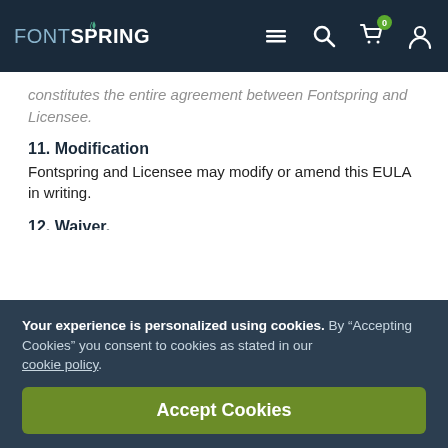FONTSPRING
constitutes the entire agreement between Fontspring and Licensee.
11. Modification
Fontspring and Licensee may modify or amend this EULA in writing.
12. Waiver.
The waiver of one breach or default hereunder shall not constitute the waiver of any subsequent breach or default.
Your experience is personalized using cookies. By “Accepting Cookies” you consent to cookies as stated in our cookie policy.
Accept Cookies